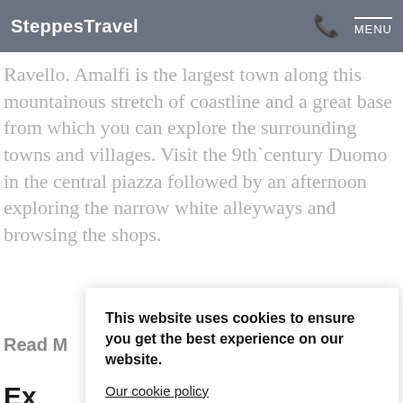SteppesTravel  MENU
Ravello. Amalfi is the largest town along this mountainous stretch of coastline and a great base from which you can explore the surrounding towns and villages. Visit the 9th‑century Duomo in the central piazza followed by an afternoon exploring the narrow white alleyways and browsing the shops.
Read M
This website uses cookies to ensure you get the best experience on our website.
Our cookie policy
I AGREE
Ex
It's all here. Things to see and do, places